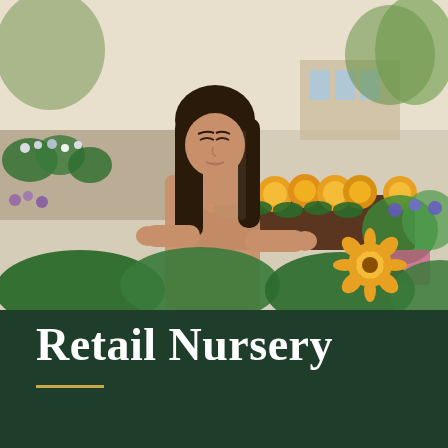[Figure (photo): A young woman with long dark hair holds a tray of yellow flowering plants at a retail nursery/garden center, surrounded by lush green foliage and colorful potted plants.]
Retail Nursery